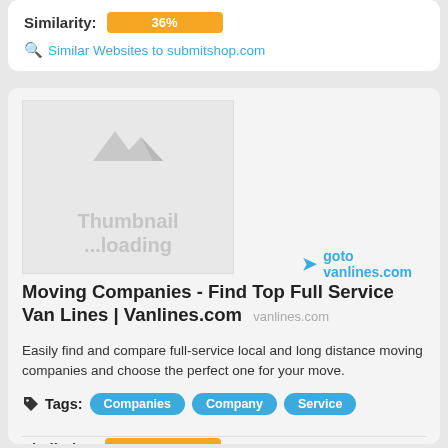Similarity: 36%
Similar Websites to submitshop.com
[Figure (screenshot): Thumbnail loading placeholder with AVA logo watermark and 'Thumbnail ...loading' text]
goto vanlines.com
Moving Companies - Find Top Full Service Van Lines | Vanlines.com vanlines.com
Easily find and compare full-service local and long distance moving companies and choose the perfect one for your move.
Tags: Companies  Company  Service
Similarity: 34%
Similar Websites to vanlines.com